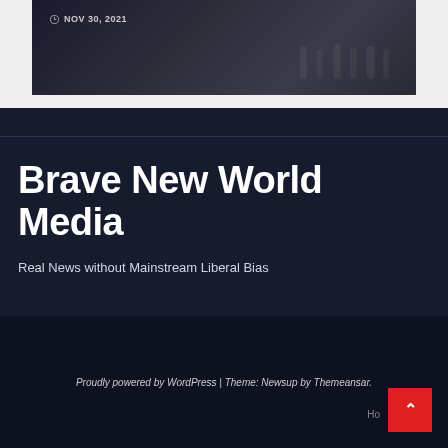[Figure (photo): Dark image card with silhouetted figures, showing date NOV 30, 2021 with clock icon]
NOV 30, 2021
Brave New World Media
Real News without Mainstream Liberal Bias
Proudly powered by WordPress | Theme: Newsup by Themeansar.